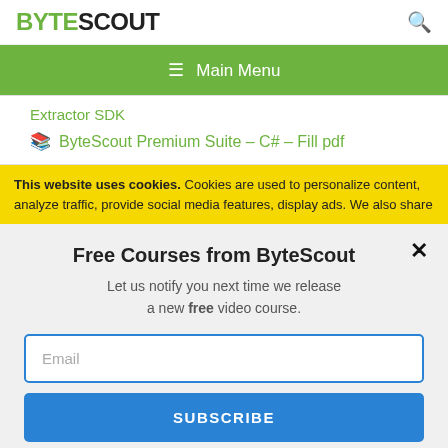BYTESCOUT
≡  Main Menu
Extractor SDK
🔖 ByteScout Premium Suite – C# – Fill pdf
This website uses cookies. Cookies are used to personalize content, analyze traffic, provide social media features, display ads. We also share
Free Courses from ByteScout
Let us notify you next time we release a new free video course.
Email
SUBSCRIBE